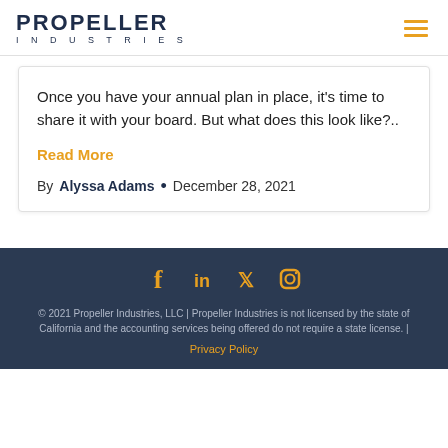PROPELLER INDUSTRIES
Once you have your annual plan in place, it's time to share it with your board. But what does this look like?..
Read More
By Alyssa Adams • December 28, 2021
[Figure (infographic): Social media icons: Facebook, LinkedIn, Twitter, Instagram in orange on dark navy background]
© 2021 Propeller Industries, LLC | Propeller Industries is not licensed by the state of California and the accounting services being offered do not require a state license. | Privacy Policy